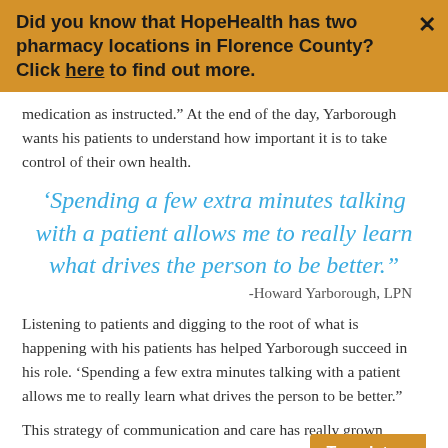Did you know that HopeHealth has two pharmacy locations in Florence County? Click here to find out more.
medication as instructed.” At the end of the day, Yarborough wants his patients to understand how important it is to take control of their own health.
‘Spending a few extra minutes talking with a patient allows me to really learn what drives the person to be better.”
-Howard Yarborough, LPN
Listening to patients and digging to the root of what is happening with his patients has helped Yarborough succeed in his role. ‘Spending a few extra minutes talking with a patient allows me to really learn what drives the person to be better.”
This strategy of communication and care has really grown Yarborough as a nurse. As a diabetic himself, he also uses his o... struggles to relate to his patients. More than a do...